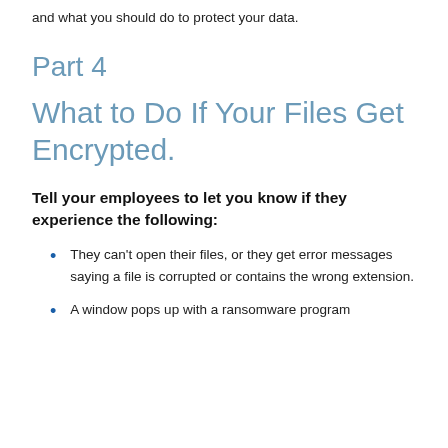and what you should do to protect your data.
Part 4
What to Do If Your Files Get Encrypted.
Tell your employees to let you know if they experience the following:
They can't open their files, or they get error messages saying a file is corrupted or contains the wrong extension.
A window pops up with a ransomware program